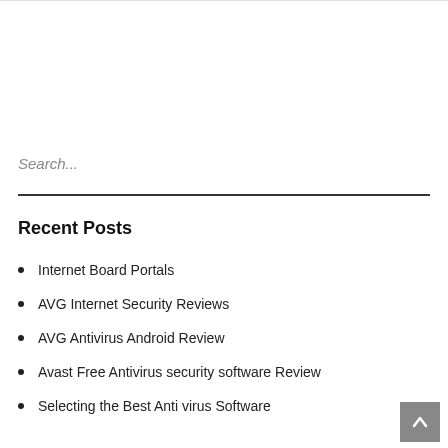Search...
Recent Posts
Internet Board Portals
AVG Internet Security Reviews
AVG Antivirus Android Review
Avast Free Antivirus security software Review
Selecting the Best Anti virus Software